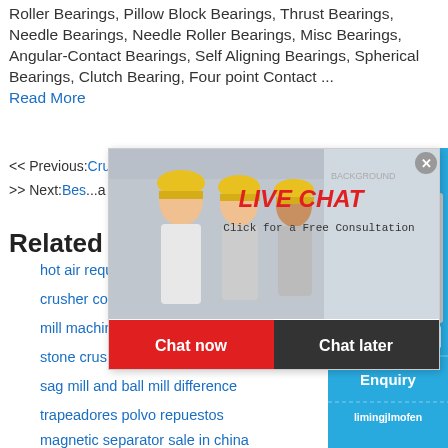Roller Bearings, Pillow Block Bearings, Thrust Bearings, Needle Bearings, Needle Roller Bearings, Misc Bearings, Angular-Contact Bearings, Self Aligning Bearings, Spherical Bearings, Clutch Bearing, Four point Contact ...
Read More
<< Previous: Crusher Plant For Sale South Africa
>> Next: Best ...
[Figure (screenshot): Live chat popup overlay with workers in hard hats, red LIVE CHAT text, Click for a Free Consultation text, Chat now (red) and Chat later (dark) buttons, and a close X button]
[Figure (screenshot): Right side blue panel showing 'hour online', a crusher machine image, 'Click me to chat>>' button, 'Enquiry' section, and 'limingjlmofen' text]
Related
hot air required coal mill
crusher comparison mining
mill machine manufacturer india
stone crusher china supplier
sag mill and ball mill difference
trapeadores polvo repuestos
magnetic separator sale in china